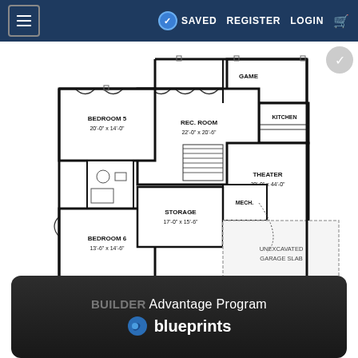≡  ✓ SAVED  REGISTER  LOGIN  🛒
[Figure (engineering-diagram): Basement/lower floor plan showing: Bedroom 5 (20'-0" x 14'-0"), Bedroom 6 (13'-6" x 14'-6"), Rec. Room (22'-0" x 20'-6"), Theater (20'-0" x 44'-0"), Game room, Kitchen, Storage (17'-0" x 15'-6"), Cold Storage (23'-6" x 5'-0"), Mech room, Unexcavated Garage Slab, F/P (fireplace), staircase]
BUILDER Advantage Program
blueprints